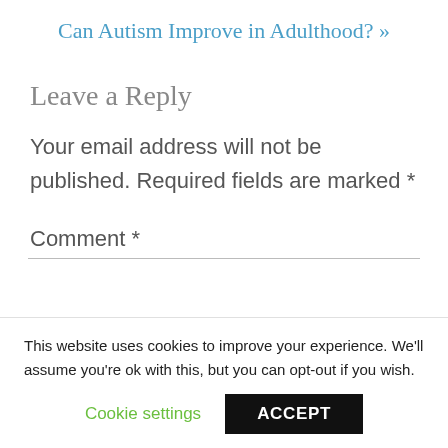Can Autism Improve in Adulthood? »
Leave a Reply
Your email address will not be published. Required fields are marked *
Comment *
This website uses cookies to improve your experience. We'll assume you're ok with this, but you can opt-out if you wish.
Cookie settings
ACCEPT